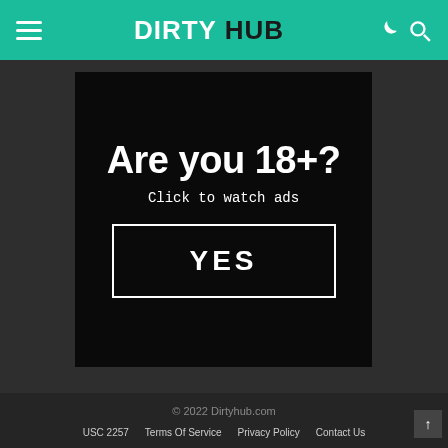DIRTY HUB
[Figure (screenshot): Age verification ad with black background. Large white bold text reads 'Are you 18+?' followed by smaller text 'Click to watch ads' and a white-bordered button labeled 'YES'.]
© 2022 Dirtyhub.com  USC 2257  Terms Of Service  Privacy Policy  Contact Us